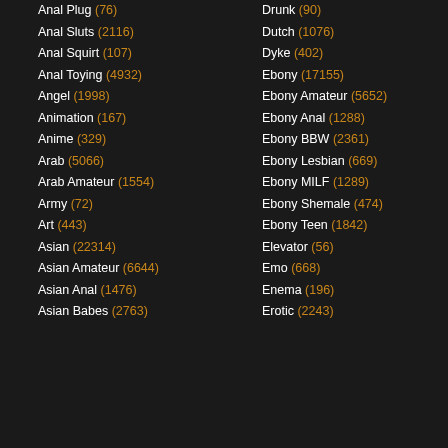Anal Plug (76)
Anal Sluts (2116)
Anal Squirt (107)
Anal Toying (4932)
Angel (1998)
Animation (167)
Anime (329)
Arab (5066)
Arab Amateur (1554)
Army (72)
Art (443)
Asian (22314)
Asian Amateur (6644)
Asian Anal (1476)
Asian Babes (2763)
Drunk (90)
Dutch (1076)
Dyke (402)
Ebony (17155)
Ebony Amateur (5652)
Ebony Anal (1288)
Ebony BBW (2361)
Ebony Lesbian (669)
Ebony MILF (1289)
Ebony Shemale (474)
Ebony Teen (1842)
Elevator (56)
Emo (668)
Enema (196)
Erotic (2243)